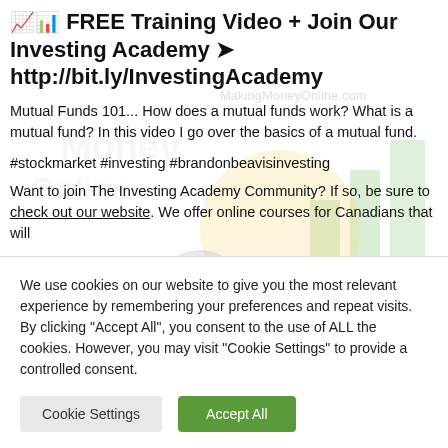🔥📊 FREE Training Video + Join Our Investing Academy ➤ http://bit.ly/InvestingAcademy
Mutual Funds 101... How does a mutual funds work? What is a mutual fund? In this video I go over the basics of a mutual fund.
#stockmarket #investing #brandonbeavisinvesting
Want to join The Investing Academy Community? If so, be sure to check out our website. We offer online courses for Canadians that will
We use cookies on our website to give you the most relevant experience by remembering your preferences and repeat visits. By clicking "Accept All", you consent to the use of ALL the cookies. However, you may visit "Cookie Settings" to provide a controlled consent.